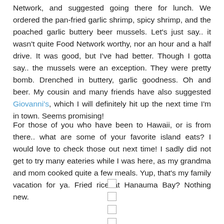Network, and suggested going there for lunch. We ordered the pan-fried garlic shrimp, spicy shrimp, and the poached garlic buttery beer mussels. Let's just say.. it wasn't quite Food Network worthy, nor an hour and a half drive. It was good, but I've had better. Though I gotta say.. the mussels were an exception. They were pretty bomb. Drenched in buttery, garlic goodness. Oh and beer. My cousin and many friends have also suggested Giovanni's, which I will definitely hit up the next time I'm in town. Seems promising!
For those of you who have been to Hawaii, or is from there.. what are some of your favorite island eats? I would love to check those out next time! I sadly did not get to try many eateries while I was here, as my grandma and mom cooked quite a few meals. Yup, that's my family vacation for ya. Fried rice at Hanauma Bay? Nothing new.
[Figure (other): Five small empty checkboxes arranged vertically in the center of the page]